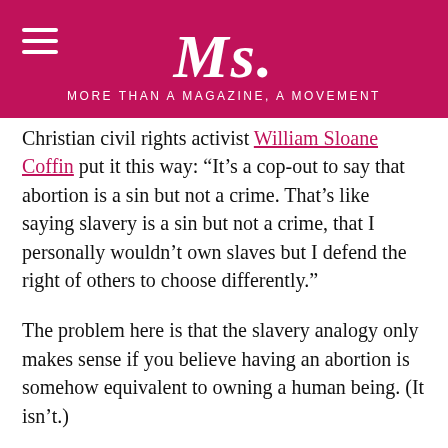Ms. MORE THAN A MAGAZINE, A MOVEMENT
Christian civil rights activist William Sloane Coffin put it this way: “It’s a cop-out to say that abortion is a sin but not a crime. That’s like saying slavery is a sin but not a crime, that I personally wouldn’t own slaves but I defend the right of others to choose differently.”
The problem here is that the slavery analogy only makes sense if you believe having an abortion is somehow equivalent to owning a human being. (It isn’t.)
Anti-abortion activists continue to use the slavery analogy, though, because they know that in the 21st century almost everyone will agree, in no